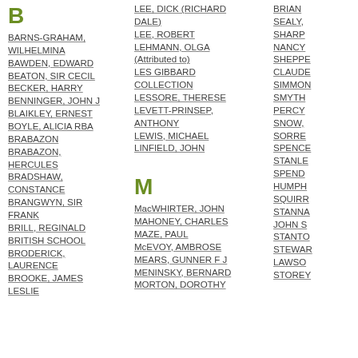B
BARNS-GRAHAM, WILHELMINA
BAWDEN, EDWARD
BEATON, SIR CECIL
BECKER, HARRY
BENNINGER, JOHN J
BLAIKLEY, ERNEST
BOYLE, ALICIA RBA
BRABAZON
BRABAZON, HERCULES
BRADSHAW, CONSTANCE
BRANGWYN, SIR FRANK
BRILL, REGINALD
BRITISH SCHOOL
BRODERICK, LAURENCE
BROOKE, JAMES LESLIE
LEE, DICK (RICHARD DALE)
LEE, ROBERT
LEHMANN, OLGA (Attributed to)
LES GIBBARD COLLECTION
LESSORE, THERESE
LEVETT-PRINSEP, ANTHONY
LEWIS, MICHAEL
LINFIELD, JOHN
M
MacWHIRTER, JOHN
MAHONEY, CHARLES
MAZE, PAUL
McEVOY, AMBROSE
MEARS, GUNNER F J
MENINSKY, BERNARD
MORTON, DOROTHY
BRIAN
SEALY,
SHARP
NANCY
SHEPPE
CLAUDE
SIMMON
SMYTH
PERCY
SNOW,
SORRE
SPENCE
STANLE
SPEND
HUMPH
SQUIRR
STANNA
JOHN S
STANTO
STEWAR
LAWSO
STOREY